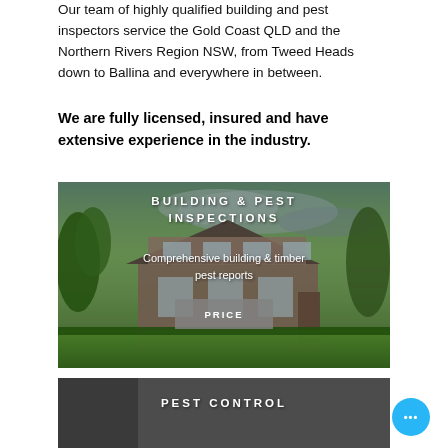Our team of highly qualified building and pest inspectors service the Gold Coast QLD and the Northern Rivers Region NSW, from Tweed Heads down to Ballina and everywhere in between.
We are fully licensed, insured and have extensive experience in the industry.
[Figure (photo): House exterior photo used as background for Building & Pest Inspections service card with overlaid title text 'BUILDING & PEST INSPECTIONS', subtitle 'Comprehensive building & timber pest reports', and a grey PRICE button.]
[Figure (photo): Partially visible service card for Pest Control with dark background and overlaid title text 'PEST CONTROL'.]